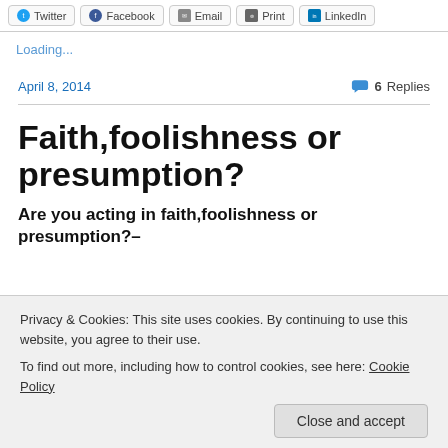Twitter | Facebook | Email | Print | LinkedIn
Loading...
April 8, 2014   6 Replies
Faith,foolishness or presumption?
Are you acting in faith,foolishness or presumption?–
Privacy & Cookies: This site uses cookies. By continuing to use this website, you agree to their use. To find out more, including how to control cookies, see here: Cookie Policy